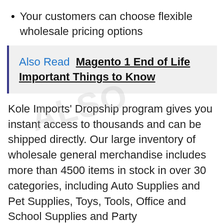Your customers can choose flexible wholesale pricing options
Also Read  Magento 1 End of Life Important Things to Know
Kole Imports’ Dropship program gives you instant access to thousands and can be shipped directly. Our large inventory of wholesale general merchandise includes more than 4500 items in stock in over 30 categories, including Auto Supplies and Pet Supplies, Toys, Tools, Office and School Supplies and Party